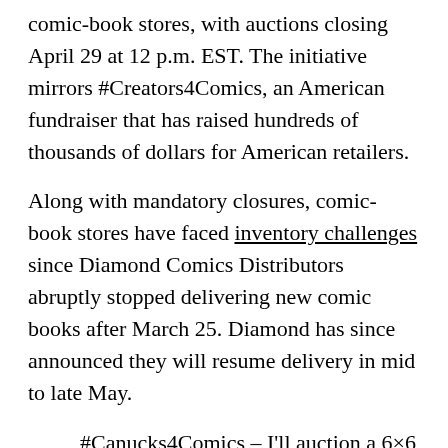comic-book stores, with auctions closing April 29 at 12 p.m. EST. The initiative mirrors #Creators4Comics, an American fundraiser that has raised hundreds of thousands of dollars for American retailers.
Along with mandatory closures, comic-book stores have faced inventory challenges since Diamond Comics Distributors abruptly stopped delivering new comic books after March 25. Diamond has since announced they will resume delivery in mid to late May.
#Canucks4Comics – I'll auction a 6×6 sketch of the winner's choosing (example attached) & 1 hr videocall where I'll answer questions, review your art, give tips, anything you want!